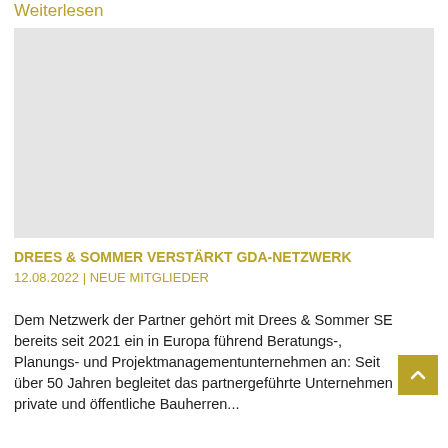Weiterlesen
[Figure (photo): Large light grey placeholder image block]
DREES & SOMMER VERSTÄRKT GDA-NETZWERK
12.08.2022 | NEUE MITGLIEDER
Dem Netzwerk der Partner gehört mit Drees & Sommer SE bereits seit 2021 ein in Europa führend Beratungs-, Planungs- und Projektmanagementunternehmen an: Seit über 50 Jahren begleitet das partnergeführte Unternehmen private und öffentliche Bauherren...